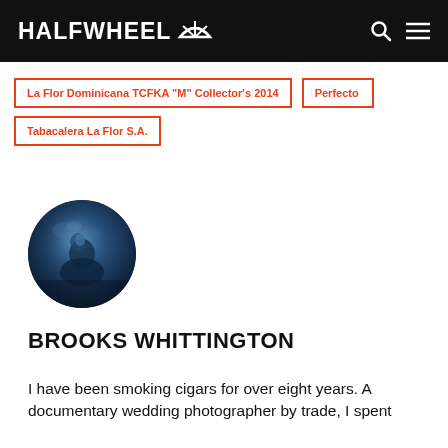HALFWHEEL
La Flor Dominicana TCFKA "M" Collector's 2014
Perfecto
Tabacalera La Flor S.A.
[Figure (photo): Circular profile photo of Brooks Whittington — a dark atmospheric image showing a figure with blue-tinted smoke or light]
BROOKS WHITTINGTON
I have been smoking cigars for over eight years. A documentary wedding photographer by trade, I spent